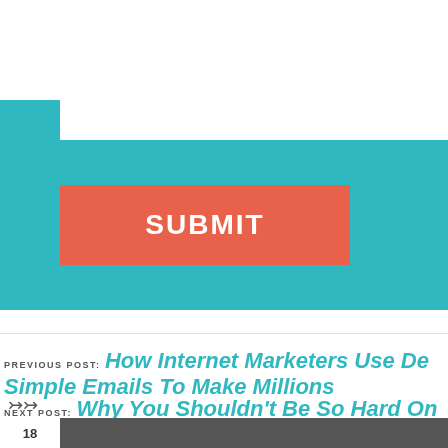[Figure (screenshot): Teal background band with white border area at top-left, and a red/coral SUBMIT button on the teal background]
PREVIOUS POST: How Internet Marketers Use De Simple Emails To Make Millions
NEXT POST: Why You Shouldn't Be So Hard On Y
18